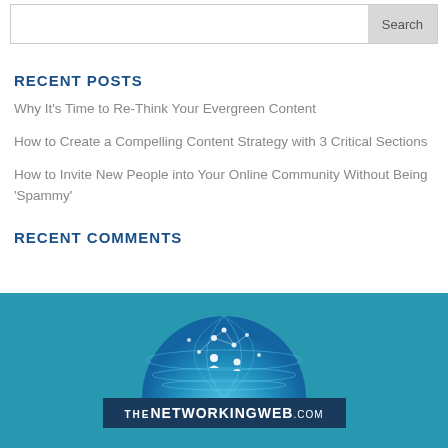RECENT POSTS
Why It's Time to Re-Think Your Evergreen Content
How to Create a Compelling Content Strategy with 3 Critical Sections
How to Invite New People into Your Online Community Without Being 'Spammy'
RECENT COMMENTS
[Figure (logo): The Networking Web logo with globe graphic on teal background]